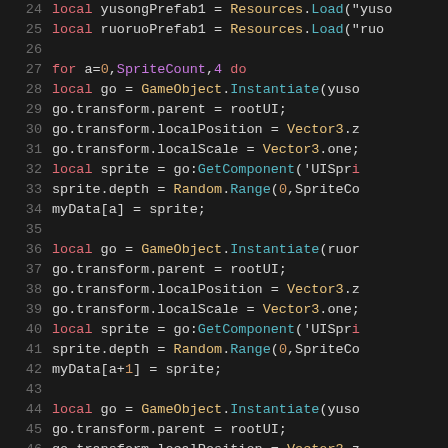[Figure (screenshot): Code editor screenshot showing Lua/Unity script lines 24-52 with syntax highlighting on dark background. Lines show local variable assignments and a for loop with GameObject.Instantiate calls, transform property assignments, and sprite component access.]